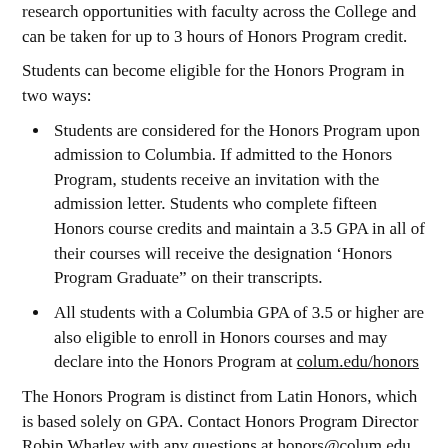research opportunities with faculty across the College and can be taken for up to 3 hours of Honors Program credit.
Students can become eligible for the Honors Program in two ways:
Students are considered for the Honors Program upon admission to Columbia. If admitted to the Honors Program, students receive an invitation with the admission letter. Students who complete fifteen Honors course credits and maintain a 3.5 GPA in all of their courses will receive the designation ‘Honors Program Graduate” on their transcripts.
All students with a Columbia GPA of 3.5 or higher are also eligible to enroll in Honors courses and may declare into the Honors Program at colum.edu/honors
The Honors Program is distinct from Latin Honors, which is based solely on GPA. Contact Honors Program Director Robin Whatley with any questions at honors@colum.edu or visit colum.edu/honors